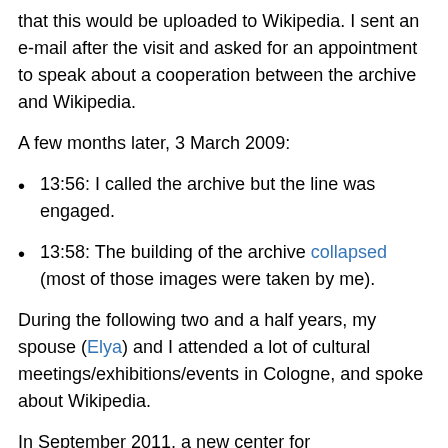that this would be uploaded to Wikipedia. I sent an e-mail after the visit and asked for an appointment to speak about a cooperation between the archive and Wikipedia.
A few months later, 3 March 2009:
13:56: I called the archive but the line was engaged.
13:58: The building of the archive collapsed (most of those images were taken by me).
During the following two and a half years, my spouse (Elya) and I attended a lot of cultural meetings/exhibitions/events in Cologne, and spoke about Wikipedia.
In September 2011, a new center for